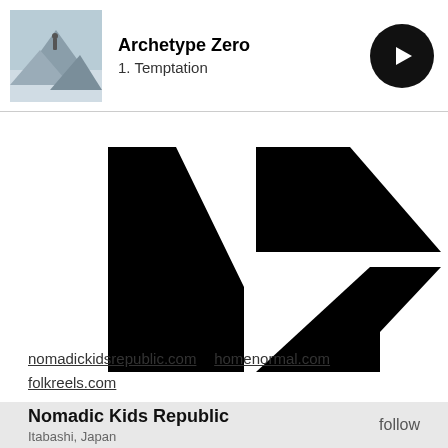Archetype Zero
1. Temptation
[Figure (logo): NKR logo in black on white background — large stylized letters N and K/R formed from geometric black shapes]
Nomadic Kids Republic
Itabashi, Japan
follow
nomadickidsrepublic.com    homenormal.com
folkreels.com